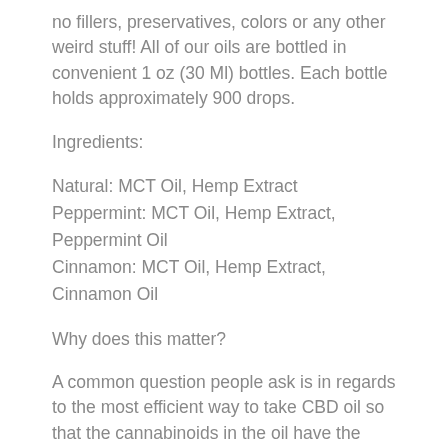no fillers, preservatives, colors or any other weird stuff!  All of our oils are bottled in convenient 1 oz (30 Ml) bottles.  Each bottle holds approximately 900 drops.
Ingredients:
Natural:  MCT Oil, Hemp Extract
Peppermint: MCT Oil, Hemp Extract, Peppermint Oil
Cinnamon:  MCT Oil, Hemp Extract, Cinnamon Oil
Why does this matter?
A common question people ask is in regards to the most efficient way to take CBD oil so that the cannabinoids in the oil have the easiest time interacting with the body. It is here that coconut oil and CBD oil's relationship comes into focus.
Cannabinoids are fat soluble, meaning they break down and are stored in fat rather than water. Because